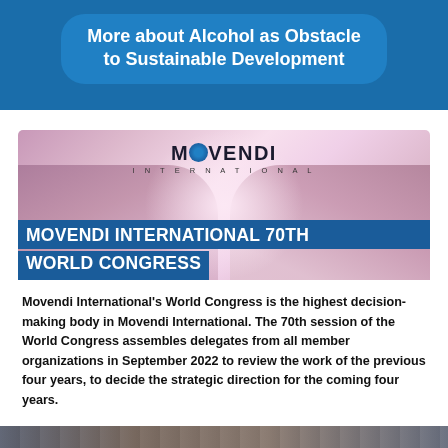More about Alcohol as Obstacle to Sustainable Development
[Figure (photo): Movendi International banner image showing hands holding together with 'MOVENDI INTERNATIONAL 70TH WORLD CONGRESS' text overlay on blue background]
Movendi International's World Congress is the highest decision-making body in Movendi International. The 70th session of the World Congress assembles delegates from all member organizations in September 2022 to review the work of the previous four years, to decide the strategic direction for the coming four years.
[Figure (photo): Bottom partial image strip]